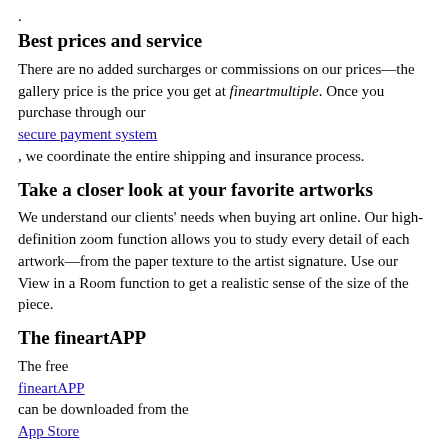.
Best prices and service
There are no added surcharges or commissions on our prices—the gallery price is the price you get at fineartmultiple. Once you purchase through our secure payment system , we coordinate the entire shipping and insurance process.
Take a closer look at your favorite artworks
We understand our clients' needs when buying art online. Our high-definition zoom function allows you to study every detail of each artwork—from the paper texture to the artist signature. Use our View in a Room function to get a realistic sense of the size of the piece.
The fineartAPP
The free fineartAPP can be downloaded from the App Store